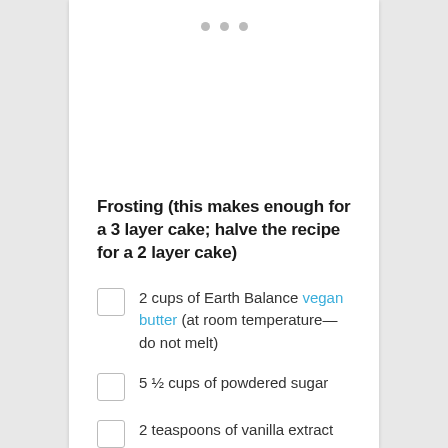Frosting (this makes enough for a 3 layer cake; halve the recipe for a 2 layer cake)
2 cups of Earth Balance vegan butter (at room temperature—do not melt)
5 ½ cups of powdered sugar
2 teaspoons of vanilla extract